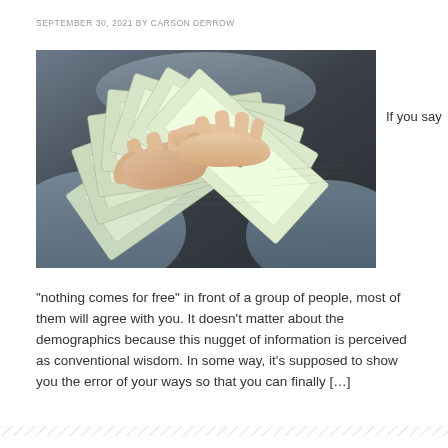SEPTEMBER 30, 2021 BY CARSON DERROW
[Figure (photo): Hands holding and fanning out multiple $100 US dollar bills over a dark fabric surface, with jeans visible in the background.]
If you say
“nothing comes for free” in front of a group of people, most of them will agree with you. It doesn’t matter about the demographics because this nugget of information is perceived as conventional wisdom. In some way, it’s supposed to show you the error of your ways so that you can finally […]